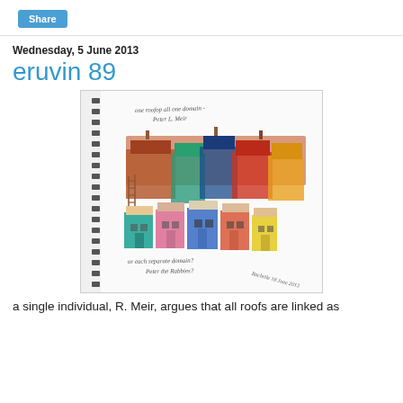Share
Wednesday, 5 June 2013
eruvin 89
[Figure (illustration): A hand-drawn sketch on spiral notebook paper showing colorful houses. The upper portion shows larger connected row houses in warm reds, oranges, blues and greens. The lower portion shows a row of smaller individual houses in teal, pink, blue, orange and yellow. Handwritten text at top reads 'one roofop all one domain - Peter L. Meir' and at bottom 'or each separate domain? - Peter the Rabbies'. Signed and dated lower right.]
a single individual, R. Meir, argues that all roofs are linked as